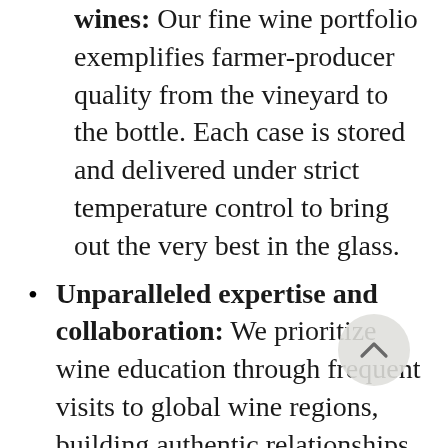wines: Our fine wine portfolio exemplifies farmer-producer quality from the vineyard to the bottle. Each case is stored and delivered under strict temperature control to bring out the very best in the glass.
Unparalleled expertise and collaboration: We prioritize wine education through frequent visits to global wine regions, building authentic relationships with producers, and maintaining genuine curiosity. We enjoy sharing trends and learnings to help create memorable experiences with our team and our partners.